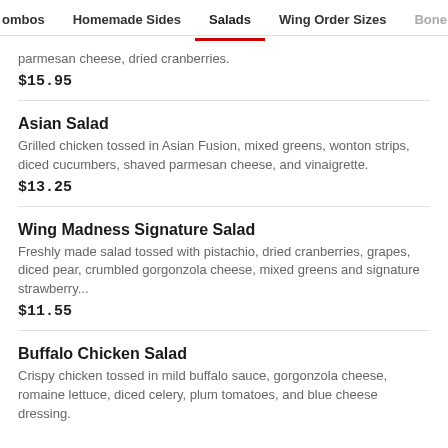ombos  Homemade Sides  Salads  Wing Order Sizes  Bone
parmesan cheese, dried cranberries.
$15.95
Asian Salad
Grilled chicken tossed in Asian Fusion, mixed greens, wonton strips, diced cucumbers, shaved parmesan cheese, and vinaigrette.
$13.25
Wing Madness Signature Salad
Freshly made salad tossed with pistachio, dried cranberries, grapes, diced pear, crumbled gorgonzola cheese, mixed greens and signature strawberry...
$11.55
Buffalo Chicken Salad
Crispy chicken tossed in mild buffalo sauce, gorgonzola cheese, romaine lettuce, diced celery, plum tomatoes, and blue cheese dressing.